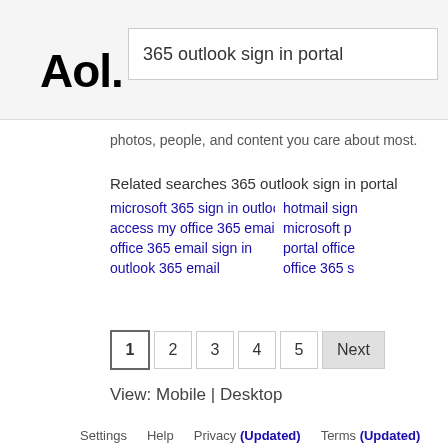Aol.
365 outlook sign in portal
photos, people, and content you care about most.
Related searches 365 outlook sign in portal
microsoft 365 sign in outlook email
hotmail sign
access my office 365 email
microsoft p
office 365 email sign in
portal office
outlook 365 email
office 365 s
1  2  3  4  5  Next
View: Mobile | Desktop
Settings    Help    Privacy (Updated)    Terms (Updated)